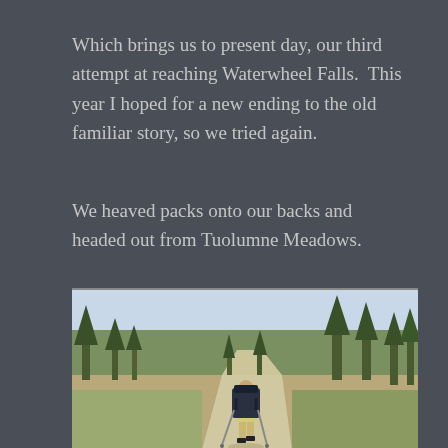Which brings us to present day, our third attempt at reaching Waterwheel Falls.  This year I hoped for a new ending to the old familiar story, so we tried again.
We heaved packs onto our backs and headed out from Tuolumne Meadows.
[Figure (photo): A hiker with a large backpack and trekking poles walking away from the camera on a dirt trail through a high alpine meadow with conifer trees and sunny sky.]